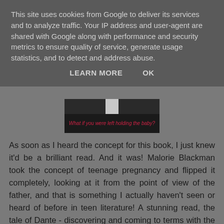This site uses cookies from Google to deliver its services and to analyze traffic. Your IP address and user-agent are shared with Google along with performance and security metrics to ensure quality of service, generate usage statistics, and to detect and address abuse.
LEARN MORE    OK
[Figure (screenshot): A dark image of a book cover showing text: 'What if you were left holding the baby?' in red letters]
As soon as I heard the concept for this book, I just knew it'd be a brilliant read. And it was! Malorie Blackman took the concept of teenage pregnancy and flipped it completely, looking at it from the point of view of the father, and that is something I actually haven't seen or heard of before in teen literature! A stunning read, the tale of Dante - discovering and coming to terms with the fact that he is a father - and his brother Adam - coming to terms with his sexuality - run alongside each other. I cannot recommend this book enough. Read it, read it, read it! You'd be mad not to!